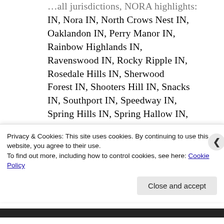…all jurisdictions, NORA highlights: IN, Nora IN, North Crows Nest IN, Oaklandon IN, Perry Manor IN, Rainbow Highlands IN, Ravenswood IN, Rocky Ripple IN, Rosedale Hills IN, Sherwood Forest IN, Shooters Hill IN, Snacks IN, Southport IN, Speedway IN, Spring Hills IN, Spring Hallow IN, Spring Hill Estates IN, Sunshine Gardens IN, Traders Point IN…
Privacy & Cookies: This site uses cookies. By continuing to use this website, you agree to their use.
To find out more, including how to control cookies, see here: Cookie Policy
Close and accept